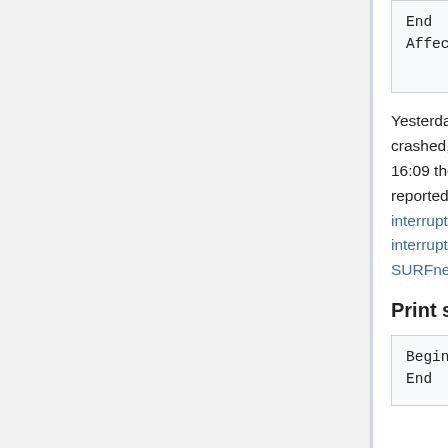| End | : 2015-11-23 16:09 |
| Affected | : All users of the RU Internet connection |
Yesterday at ca. 15:52 a SURFnet core router crashed, taking down the RU Internet connection. At 16:09 the connection was restored. This was reported yesterday on a temporary SURFnet service interruptions page and on the ISC/CIM service interruptions page. Details can be found on the SURFnet Network Tickets mailing list.
Print server printto problems
| Begin | : 20151119 ??? |
| End | : 20151119 |